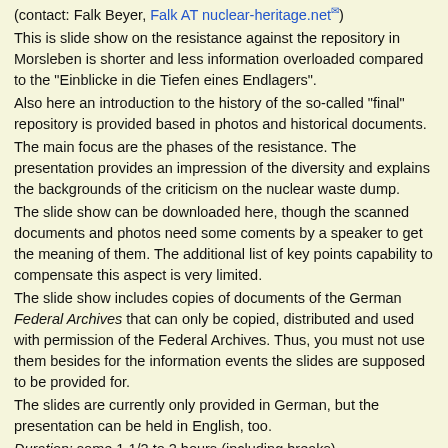(contact: Falk Beyer, Falk AT nuclear-heritage.net)
This is slide show on the resistance against the repository in Morsleben is shorter and less information overloaded compared to the "Einblicke in die Tiefen eines Endlagers".
Also here an introduction to the history of the so-called "final" repository is provided based in photos and historical documents.
The main focus are the phases of the resistance. The presentation provides an impression of the diversity and explains the backgrounds of the criticism on the nuclear waste dump.
The slide show can be downloaded here, though the scanned documents and photos need some coments by a speaker to get the meaning of them. The additional list of key points capability to compensate this aspect is very limited.
The slide show includes copies of documents of the German Federal Archives that can only be copied, distributed and used with permission of the Federal Archives. Thus, you must not use them besides for the information events the slides are supposed to be provided for.
The slides are currently only provided in German, but the presentation can be held in English, too.
Duration: some 1 1/2 to 2 hours (including breaks)
Technical requirements: digital projector & screen, computer/laptop
List of key points German